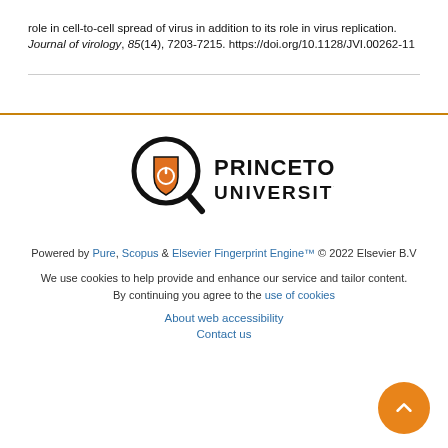role in cell-to-cell spread of virus in addition to its role in virus replication. Journal of virology, 85(14), 7203-7215. https://doi.org/10.1128/JVI.00262-11
[Figure (logo): Princeton University logo with magnifying glass icon and shield]
Powered by Pure, Scopus & Elsevier Fingerprint Engine™ © 2022 Elsevier B.V
We use cookies to help provide and enhance our service and tailor content. By continuing you agree to the use of cookies
About web accessibility
Contact us